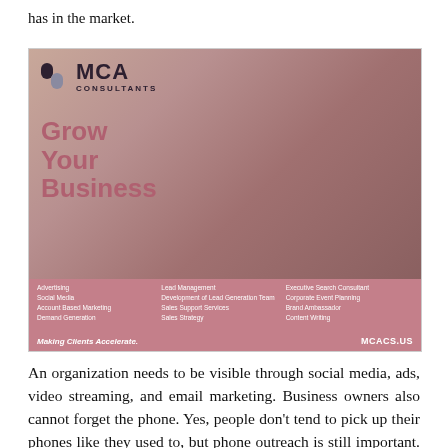has in the market.
[Figure (illustration): MCA Consultants advertisement with logo, 'Grow Your Business' headline, photo of two women in a business setting, list of services, tagline 'Making Clients Accelerate.' and website MCACS.US]
An organization needs to be visible through social media, ads, video streaming, and email marketing. Business owners also cannot forget the phone. Yes, people don't tend to pick up their phones like they used to, but phone outreach is still important. It needs to be added to the mix